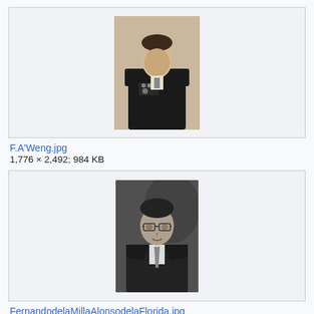[Figure (photo): Black and white portrait photo of a person in military uniform with medals, standing pose]
F.A'Weng.jpg
1,776 × 2,492; 984 KB
[Figure (photo): Black and white portrait photo of a man wearing glasses and a suit with tie]
FernandodelaMillaAlonsodelaFlorida.jpg
220 × 403; 37 KB